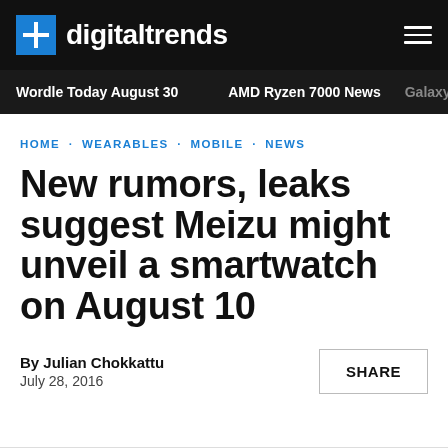digitaltrends
Wordle Today August 30 · AMD Ryzen 7000 News · Galaxy
HOME · WEARABLES · MOBILE · NEWS
New rumors, leaks suggest Meizu might unveil a smartwatch on August 10
By Julian Chokkattu
July 28, 2016